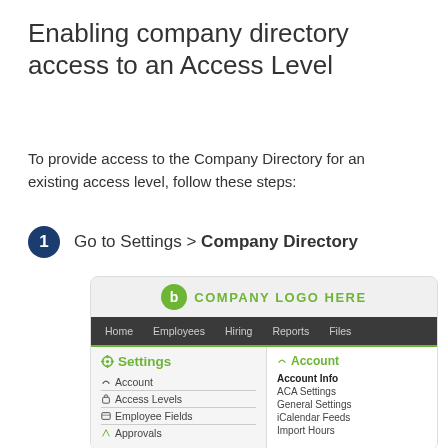Enabling company directory access to an Access Level
To provide access to the Company Directory for an existing access level, follow these steps:
1 Go to Settings > Company Directory
[Figure (screenshot): Screenshot of a BambooHR-style software interface showing Settings navigation menu with Account, Access Levels, Employee Fields, Approvals items on the left, and Account submenu with Account Info, ACA Settings, General Settings, iCalendar Feeds, Import Hours on the right. A top navigation bar shows Home, Employees, Hiring, Reports, Files. A company logo placeholder reads COMPANY LOGO HERE.]